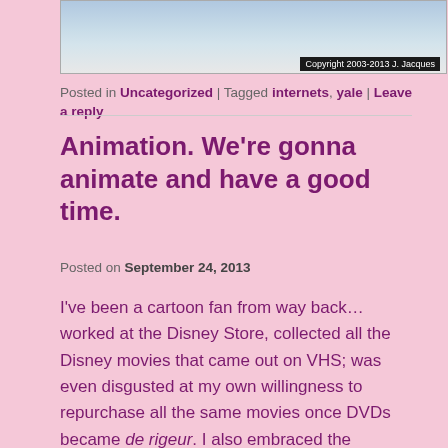[Figure (illustration): Partial view of a webcomic panel showing cartoon characters, with a black copyright bar at the bottom reading 'Copyright 2003-2013 J. Jacques']
Posted in Uncategorized | Tagged internets, yale | Leave a reply
Animation. We're gonna animate and have a good time.
Posted on September 24, 2013
I've been a cartoon fan from way back… worked at the Disney Store, collected all the Disney movies that came out on VHS; was even disgusted at my own willingness to repurchase all the same movies once DVDs became de rigeur.  I also embraced the Dreamworks feature length animated films when they came along – the more the merrier!  Hell, I even